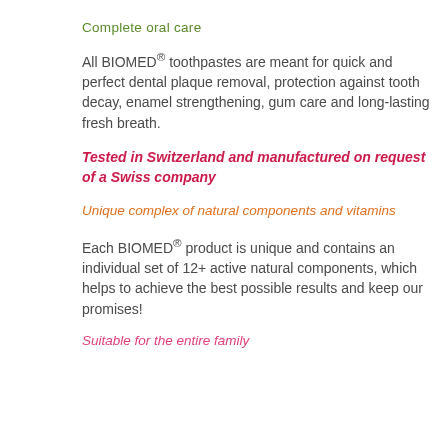Complete oral care
All BIOMED® toothpastes are meant for quick and perfect dental plaque removal, protection against tooth decay, enamel strengthening, gum care and long-lasting fresh breath.
Tested in Switzerland and manufactured on request of a Swiss company
Unique complex of natural components and vitamins
Each BIOMED® product is unique and contains an individual set of 12+ active natural components, which helps to achieve the best possible results and keep our promises!
Suitable for the entire family